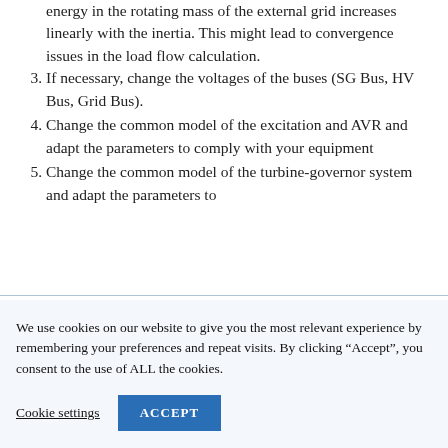energy in the rotating mass of the external grid increases linearly with the inertia. This might lead to convergence issues in the load flow calculation.
3. If necessary, change the voltages of the buses (SG Bus, HV Bus, Grid Bus).
4. Change the common model of the excitation and AVR and adapt the parameters to comply with your equipment
5. Change the common model of the turbine-governor system and adapt the parameters to
We use cookies on our website to give you the most relevant experience by remembering your preferences and repeat visits. By clicking “Accept”, you consent to the use of ALL the cookies.